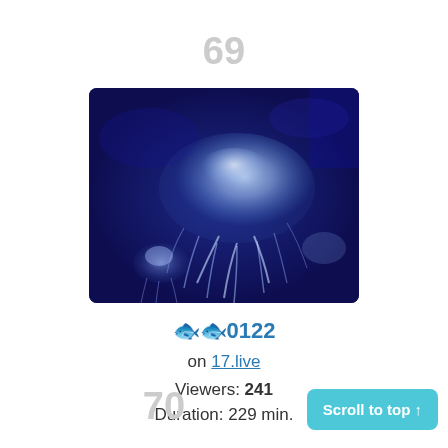69
[Figure (photo): A glowing blue jellyfish photographed against a dark blue background in an aquarium setting. A second smaller jellyfish is visible in the lower left.]
🐟🐟0122
on 17.live
Viewers: 241
Duration: 229 min.
70
Scroll to top ↑